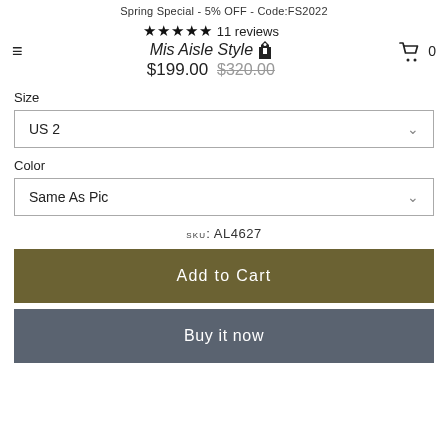Spring Special - 5% OFF - Code:FS2022
★★★★★ 11 reviews
Mis Aisle Style
$199.00  $320.00
Size
US 2
Color
Same As Pic
SKU: AL4627
Add to Cart
Buy it now